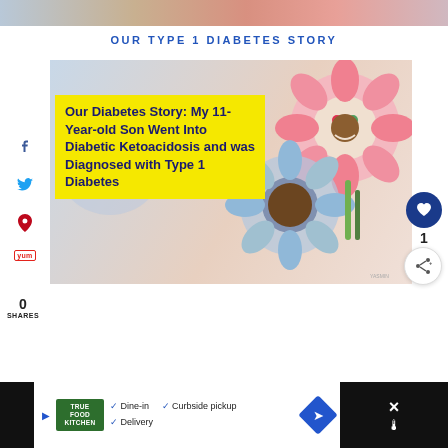[Figure (photo): Top partial image of people, cropped at top of page]
OUR TYPE 1 DIABETES STORY
[Figure (photo): Main article thumbnail: colorful Murakami-style flower art background with yellow overlay text box reading 'Our Diabetes Story: My 11-Year-old Son Went Into Diabetic Ketoacidosis and was Diagnosed with Type 1 Diabetes']
0
SHARES
[Figure (other): Advertisement bar at bottom: True Food Kitchen ad with Dine-in, Curbside pickup, Delivery options]